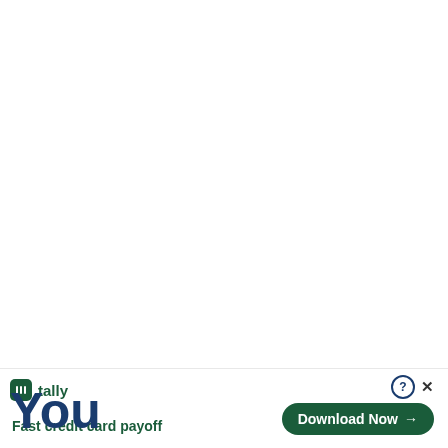[Figure (screenshot): Close X button overlay in gray background positioned in upper-right area of the ad banner]
Close X
[Figure (logo): Tally app logo with green icon and tally wordmark]
Fast credit card payoff
[Figure (other): Download Now button with arrow, and question mark / X icons above it]
You